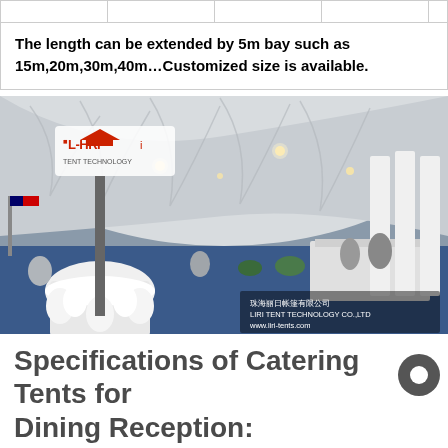The length can be extended by 5m bay such as 15m,20m,30m,40m…Customized size is available.
[Figure (photo): Interior of a large white tent/marquee set up for a catering dining reception. White draped ceiling with recessed lights, round tables with white tablecloths and chair covers, blue carpet, flags visible outside. LIRI Tent Technology Co., Ltd logo and website www.liri-tents.com visible in bottom right corner.]
Specifications of Catering Tents for Dining Reception: